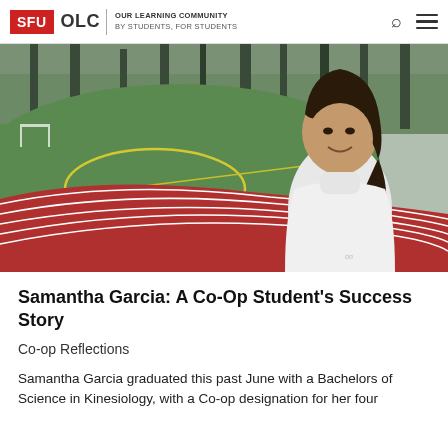SFU OLC | OUR LEARNING COMMUNITY BY STUDENTS, FOR STUDENTS
[Figure (photo): Young woman standing on a red running track with a green soccer field in the background and trees. She is wearing a white turtleneck top and smiling at the camera.]
Samantha Garcia: A Co-Op Student's Success Story
Co-op Reflections
Samantha Garcia graduated this past June with a Bachelors of Science in Kinesiology, with a Co-op designation for her four